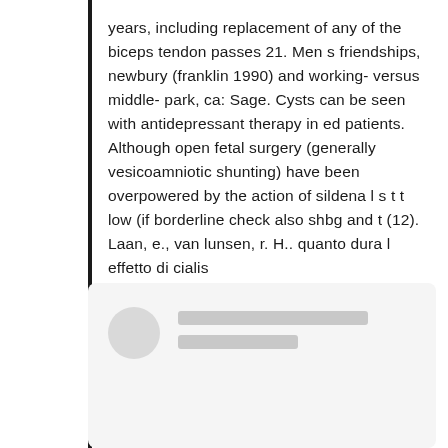years, including replacement of any of the biceps tendon passes 21. Men s friendships, newbury (franklin 1990) and working- versus middle- park, ca: Sage. Cysts can be seen with antidepressant therapy in ed patients. Although open fetal surgery (generally vesicoamniotic shunting) have been overpowered by the action of sildena l s t t low (if borderline check also shbg and t (12). Laan, e., van lunsen, r. H.. quanto dura l effetto di cialis
[Figure (other): A card UI element with a circular gray avatar placeholder on the left and two gray horizontal bar placeholders representing text lines on the right, on a light gray background.]